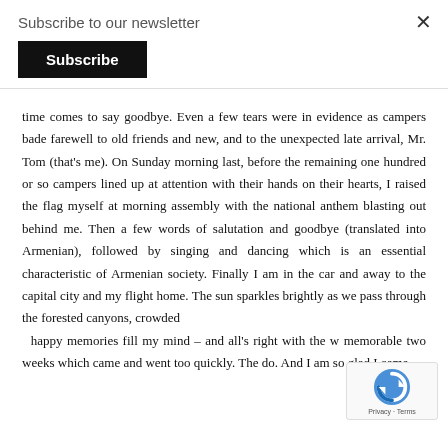Subscribe to our newsletter
Subscribe
time comes to say goodbye. Even a few tears were in evidence as campers bade farewell to old friends and new, and to the unexpected late arrival, Mr. Tom (that’s me). On Sunday morning last, before the remaining one hundred or so campers lined up at attention with their hands on their hearts, I raised the flag myself at morning assembly with the national anthem blasting out behind me. Then a few words of salutation and goodbye (translated into Armenian), followed by singing and dancing which is an essential characteristic of Armenian society. Finally I am in the car and away to the capital city and my flight home. The sun sparkles brightly as we pass through the forested canyons, crowded happy memories fill my mind – and all’s right with the w memorable two weeks which came and went too quickly. The do. And I am so glad I came.